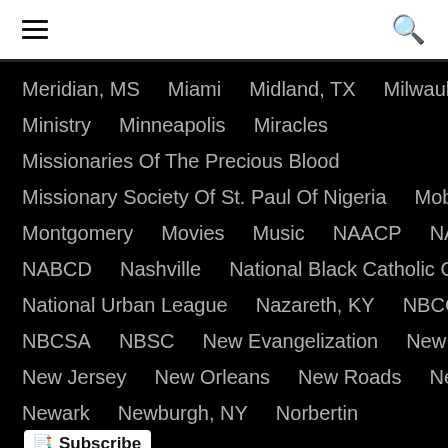Navigation header with hamburger menu and search icon
Meridian, MS
Miami
Midland, TX
Milwaukee
Ministry
Minneapolis
Miracles
Missionaries Of The Precious Blood
Missionary Society Of St. Paul Of Nigeria
Mobile
Montgomery
Movies
Music
NAACP
NABCA
NABCD
Nashville
National Black Catholic Congress
National Urban League
Nazareth, KY
NBCCC
NBCSA
NBSC
New Evangelization
New Iberia
New Jersey
New Orleans
New Roads
New York
Newark
Newburgh, NY
Norbertin
North Carolina
Notre Dame
Oakland
Obituary